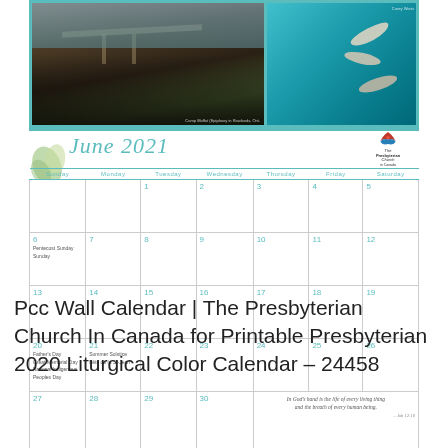[Figure (photo): Calendar page for June 2021 from the Presbyterian Church in Canada wall calendar. Top portion shows two photos: left photo shows a group of people gathered at a lakeside dock at dusk/evening, right photo shows an aerial view of people paddling kayaks/canoes in turquoise water. Below photos is a calendar grid for June 2021 with decorative leaf motif and PCA logo.]
Pcc Wall Calendar | The Presbyterian Church In Canada for Printable Presbyterian 2020 Liturgical Color Calendar – 24458